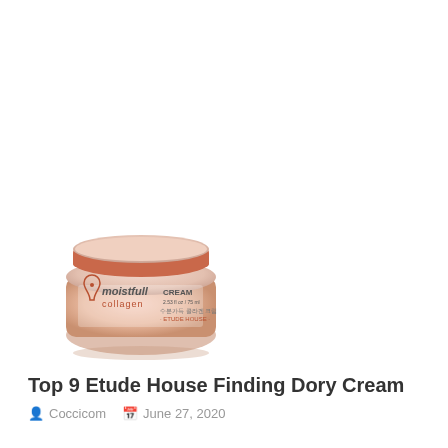[Figure (photo): A jar of Etude House Moistfull Collagen Cream, peach/salmon colored packaging with orange lid, showing text 'moistfull collagen CREAM 2.53 fl oz / 75 ml, ETUDE HOUSE']
Top 9 Etude House Finding Dory Cream
Coccicom   June 27, 2020